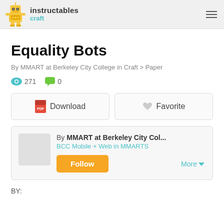instructables craft
Equality Bots
By MMART at Berkeley City College in Craft > Paper
271   0
Download   Favorite
By MMART at Berkeley City Col...
BCC Mobile + Web in MMARTS
Follow   More
BY: